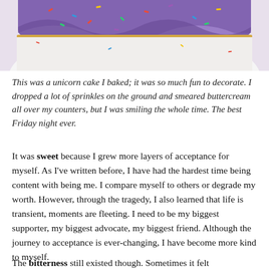[Figure (photo): Top portion of a decorated unicorn cake with purple frosting and colorful sprinkles, viewed from above on a white cake stand.]
This was a unicorn cake I baked; it was so much fun to decorate. I dropped a lot of sprinkles on the ground and smeared buttercream all over my counters, but I was smiling the whole time. The best Friday night ever.
It was sweet because I grew more layers of acceptance for myself. As I've written before, I have had the hardest time being content with being me. I compare myself to others or degrade my worth. However, through the tragedy, I also learned that life is transient, moments are fleeting. I need to be my biggest supporter, my biggest advocate, my biggest friend. Although the journey to acceptance is ever-changing, I have become more kind to myself.
The bitterness still existed though. Sometimes it felt